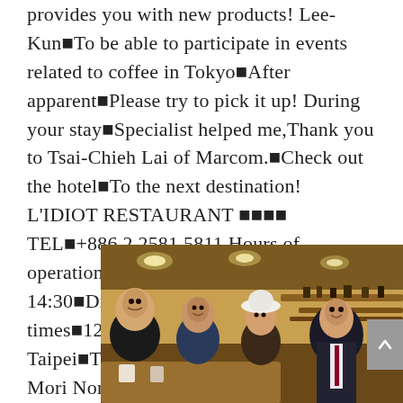provides you with new products! Lee-Kun■To be able to participate in events related to coffee in Tokyo■After apparent■Please try to pick it up! During your stay■Specialist helped me,Thank you to Tsai-Chieh Lai of Marcom.■Check out the hotel■To the next destination! L'IDIOT RESTAURANT ■■■■ TEL■+886 2 2581 5811 Hours of operation■Lunch■11:30-14:30■Dinner■17:30-21:30 Cafe opening times■12:00-23:00 Gloria Prince Hotel Taipei■Taipei City Zhongshan District Lin Mori North Road No. 369 TEL■+886-2-2581-8111...
[Figure (photo): Group photo of four people seated at a restaurant table, smiling at the camera. One person wears a white hat. The restaurant interior has warm lighting with wooden decor visible in the background.]